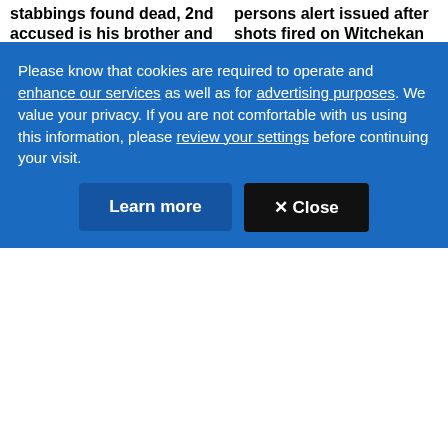stabbings found dead, 2nd accused is his brother and still at large, RCMP say
News - Canada - Saskatchewan
persons alert issued after shots fired on Witchekan Lake First Nation
News - Canada - Saskatchewan
[Figure (photo): Tennis player celebrating with arms raised, crowd in background]
[Figure (photo): Woman smiling in selfie photo, outdoor scene with people in background]
ROUNDUP
FIRST PERSON
Please know that cookies are required to operate and enhance our services as well as for advertising purposes. We value your privacy. If you are not comfortable with us using this information, please review your settings before continuing your visit.
Learn more
✕ Close